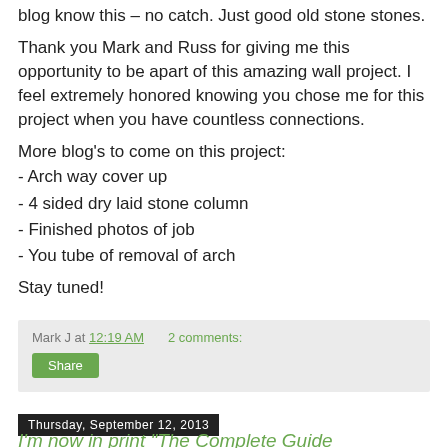blog know this – no catch. Just good old stone stones.
Thank you Mark and Russ for giving me this opportunity to be apart of this amazing wall project. I feel extremely honored knowing you chose me for this project when you have countless connections.
More blog's to come on this project:
- Arch way cover up
- 4 sided dry laid stone column
- Finished photos of job
- You tube of removal of arch
Stay tuned!
Mark J at 12:19 AM    2 comments:
Share
Thursday, September 12, 2013
I'm now in print "The Complete Guide